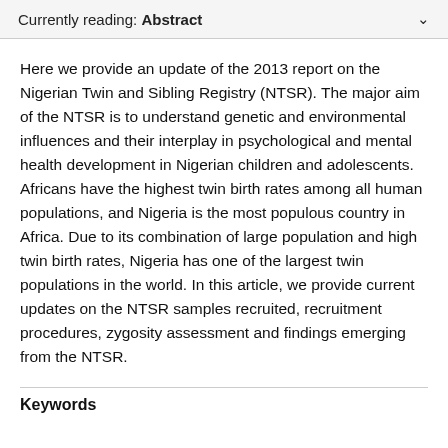Currently reading: Abstract
Here we provide an update of the 2013 report on the Nigerian Twin and Sibling Registry (NTSR). The major aim of the NTSR is to understand genetic and environmental influences and their interplay in psychological and mental health development in Nigerian children and adolescents. Africans have the highest twin birth rates among all human populations, and Nigeria is the most populous country in Africa. Due to its combination of large population and high twin birth rates, Nigeria has one of the largest twin populations in the world. In this article, we provide current updates on the NTSR samples recruited, recruitment procedures, zygosity assessment and findings emerging from the NTSR.
Keywords